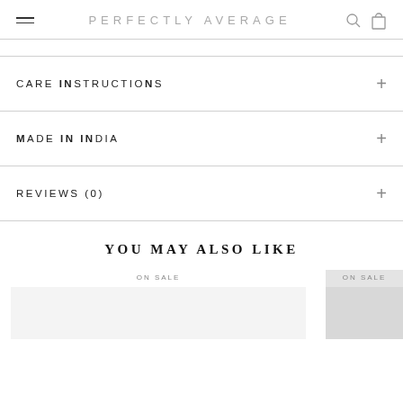PERFECTLY AVERAGE
CARE INSTRUCTIONS
MADE IN INDIA
REVIEWS (0)
YOU MAY ALSO LIKE
ON SALE
ON SALE